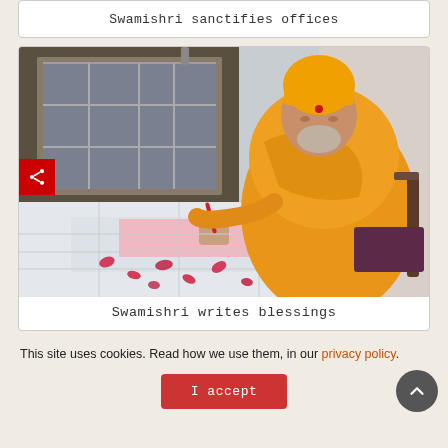Swamishri sanctifies offices
[Figure (photo): An elderly monk in orange robes and orange cap sits in a wheelchair at a white table, writing blessings on pink paper with red rose petals scattered on the table. A barred window is visible in the background.]
Swamishri writes blessings
This site uses cookies. Read how we use them, in our privacy policy.
I accept